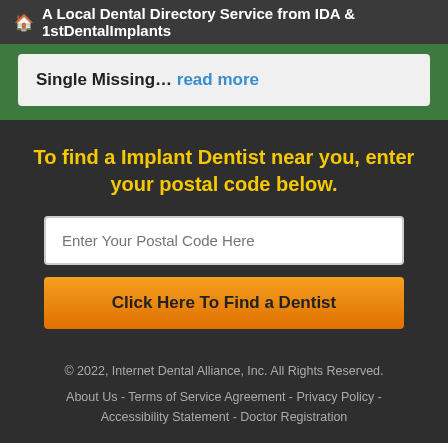🏠 A Local Dental Directory Service from IDA & 1stDentalImplants
Single Missing… read more
To find a Implant Dentist near you, enter your postal code below.
Enter Your Postal Code Here
Click Here To Find a Dentist
© 2022, Internet Dental Alliance, Inc. All Rights Reserved.
About Us - Terms of Service Agreement - Privacy Policy - Accessibility Statement - Doctor Registration